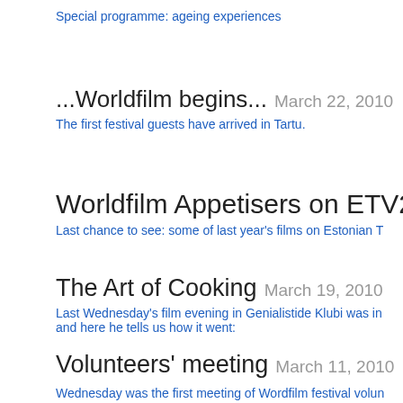Special programme: ageing experiences
...Worldfilm begins... March 22, 2010
The first festival guests have arrived in Tartu.
Worldfilm Appetisers on ETV2 M
Last chance to see: some of last year's films on Estonian T
The Art of Cooking March 19, 2010
Last Wednesday's film evening in Genialistide Klubi was in and here he tells us how it went:
Volunteers' meeting March 11, 2010
Wednesday was the first meeting of Wordfilm festival volun